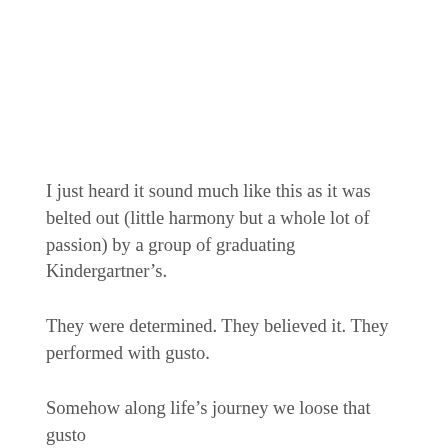I just heard it sound much like this as it was belted out (little harmony but a whole lot of passion) by a group of graduating Kindergartner’s.
They were determined. They believed it. They performed with gusto.
Somehow along life’s journey we loose that gusto